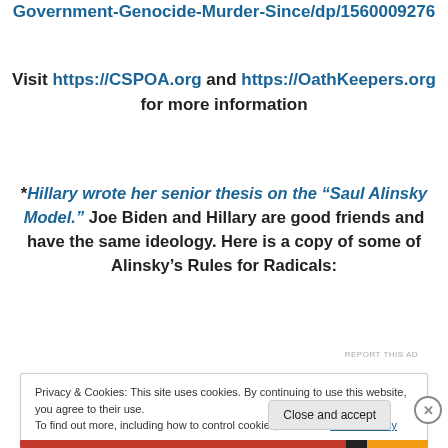Government-Genocide-Murder-Since/dp/1560009276
Visit https://CSPOA.org and https://OathKeepers.org for more information
*Hillary wrote her senior thesis on the “Saul Alinsky Model.” Joe Biden and Hillary are good friends and have the same ideology. Here is a copy of some of Alinsky’s Rules for Radicals:
REPORT THIS AD
Privacy & Cookies: This site uses cookies. By continuing to use this website, you agree to their use.
To find out more, including how to control cookies, see here: Cookie Policy
Close and accept